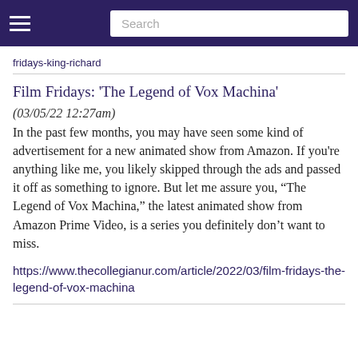Search
fridays-king-richard
Film Fridays: 'The Legend of Vox Machina'
(03/05/22 12:27am)
In the past few months, you may have seen some kind of advertisement for a new animated show from Amazon. If you're anything like me, you likely skipped through the ads and passed it off as something to ignore. But let me assure you, “The Legend of Vox Machina,” the latest animated show from Amazon Prime Video, is a series you definitely don’t want to miss.
https://www.thecollegianur.com/article/2022/03/film-fridays-the-legend-of-vox-machina